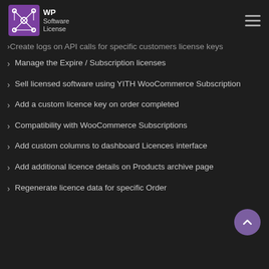[Figure (logo): WP Software License logo with purple circuit board icon]
Create logs on API calls for specific customers license keys
Manage the Expire / Subscription licenses
Sell licensed software using YITH WooCommerce Subscription
Add a custom licence key on order completed
Compatibility with WooCommerce Subscriptions
Add custom columns to dashboard Licences interface
Add additional licence details on Products archive page
Regenerate licence data for specific Order